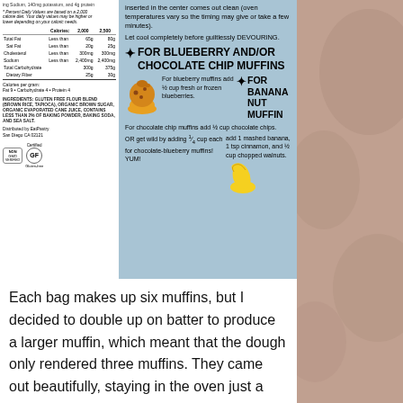[Figure (photo): Photo of a muffin mix bag label showing nutrition facts, ingredients, and recipe instructions for blueberry, chocolate chip, and banana nut muffins on a blue background.]
Each bag makes up six muffins, but I decided to double up on batter to produce a larger muffin, which meant that the dough only rendered three muffins. They came out beautifully, staying in the oven just a little bit